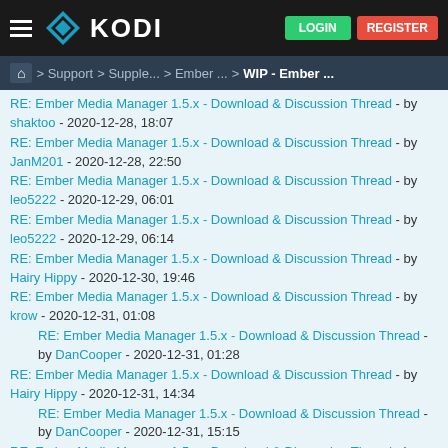KODI - LOGIN - REGISTER
Home > Support > Supple... > Ember ... > WIP - Ember ...
RE: Ember Media Manager 1.5.x - Download & Discussion Thread - by shaktoo - 2020-12-28, 18:07
RE: Ember Media Manager 1.5.x - Download & Discussion Thread - by JanM201 - 2020-12-28, 22:50
RE: Ember Media Manager 1.5.x - Download & Discussion Thread - by leo5222 - 2020-12-29, 06:01
RE: Ember Media Manager 1.5.x - Download & Discussion Thread - by leo5222 - 2020-12-29, 06:14
RE: Ember Media Manager 1.5.x - Download & Discussion Thread - by Hairy Hippy - 2020-12-30, 19:46
RE: Ember Media Manager 1.5.x - Download & Discussion Thread - by krow - 2020-12-31, 01:08
RE: Ember Media Manager 1.5.x - Download & Discussion Thread - by DanCooper - 2020-12-31, 01:28
RE: Ember Media Manager 1.5.x - Download & Discussion Thread - by Hairy Hippy - 2020-12-31, 14:34
RE: Ember Media Manager 1.5.x - Download & Discussion Thread - by DanCooper - 2020-12-31, 15:15
RE: Ember Media Manager 1.5.x - Download & Discussion Thread - by Hairy Hippy - 2020-12-31, 18:56